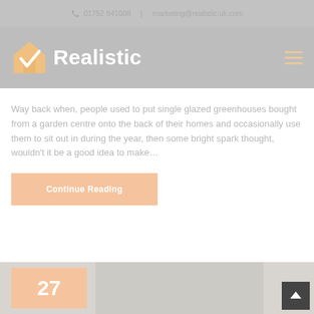01752 841008  |  marketing@realistic.uk.com
[Figure (logo): Realistic company logo with house/checkmark icon and wordmark, plus hamburger menu icon]
Way back when, people used to put single glazed greenhouses bought from a garden centre onto the back of their homes and occasionally use them to sit out in during the year, then some bright spark thought, wouldn't it be a good idea to make…
Continue Reading
[Figure (photo): Bottom strip showing a date badge '27' in orange and a partial photo of what appears to be windows or architectural elements]